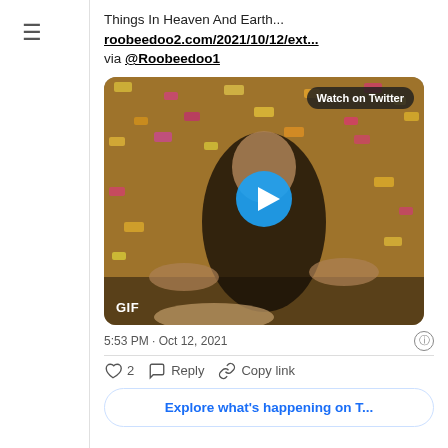[Figure (screenshot): Hamburger menu icon (three horizontal lines) in left sidebar]
Things In Heaven And Earth...
roobeedoo2.com/2021/10/12/ext...
via @Roobeedoo1
[Figure (photo): GIF thumbnail showing a person celebrating with confetti, with a blue play button overlay and 'Watch on Twitter' badge and 'GIF' label]
5:53 PM · Oct 12, 2021
♡ 2   Reply   Copy link
Explore what's happening on T...